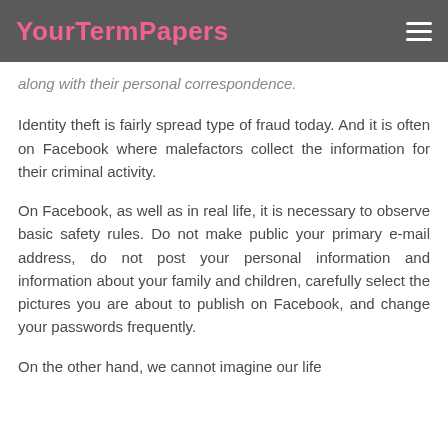YourTermPapers
along with their personal correspondence.
Identity theft is fairly spread type of fraud today. And it is often on Facebook where malefactors collect the information for their criminal activity.
On Facebook, as well as in real life, it is necessary to observe basic safety rules. Do not make public your primary e-mail address, do not post your personal information and information about your family and children, carefully select the pictures you are about to publish on Facebook, and change your passwords frequently.
On the other hand, we cannot imagine our life